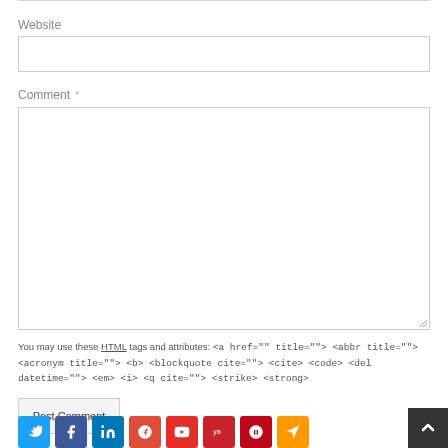Website
Comment *
You may use these HTML tags and attributes: <a href="" title=""> <abbr title=""> <acronym title=""> <b> <blockquote cite=""> <cite> <code> <del datetime=""> <em> <i> <q cite=""> <strike> <strong>
Post Comment